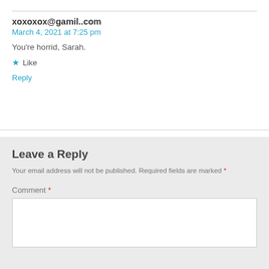xoxoxox@gamil..com
March 4, 2021 at 7:25 pm
You're horrid, Sarah.
★ Like
Reply
Leave a Reply
Your email address will not be published. Required fields are marked *
Comment *